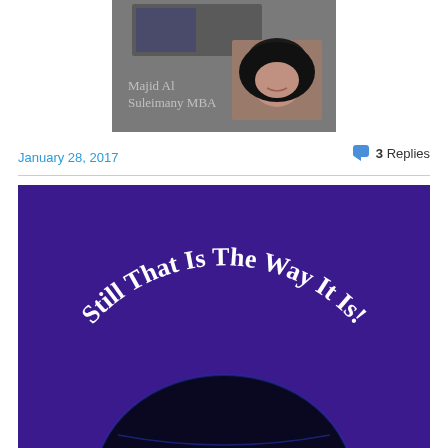[Figure (photo): Book cover image showing 'Majid Al Suleimany MBA' with photo of a woman in hijab, gray background]
January 28, 2017
3 Replies
[Figure (illustration): Purple book cover with curved white text 'Still That Is The Way It Is!' arched over a dark circular globe shape at the bottom]